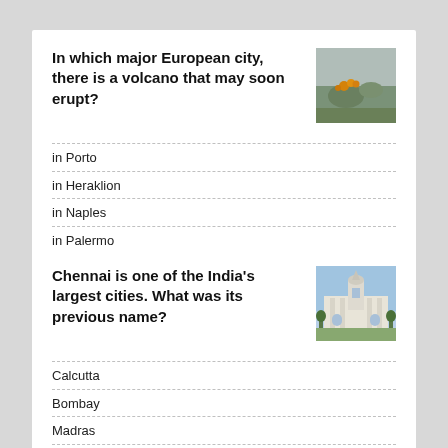In which major European city, there is a volcano that may soon erupt?
[Figure (photo): Photo of a volcanic or rocky/mossy landscape with orange flowers]
in Porto
in Heraklion
in Naples
in Palermo
Chennai is one of the India's largest cities. What was its previous name?
[Figure (photo): Photo of a white colonial-style building with tower/steeple against blue sky]
Calcutta
Bombay
Madras
Bangalore